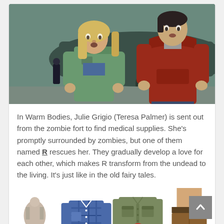[Figure (photo): Movie still from Warm Bodies showing a blonde woman in a green jacket and a young man in a red hoodie standing near an aircraft on a tarmac]
In Warm Bodies, Julie Grigio (Teresa Palmer) is sent out from the zombie fort to find medical supplies. She's promptly surrounded by zombies, but one of them named R rescues her. They gradually develop a love for each other, which makes R transform from the undead to the living. It's just like in the old fairy tales.
[Figure (photo): Row of clothing thumbnails: a mannequin top, a blue plaid shirt, a green military jacket with a red badge numbered 3, and partial view of brown pants/skirt]